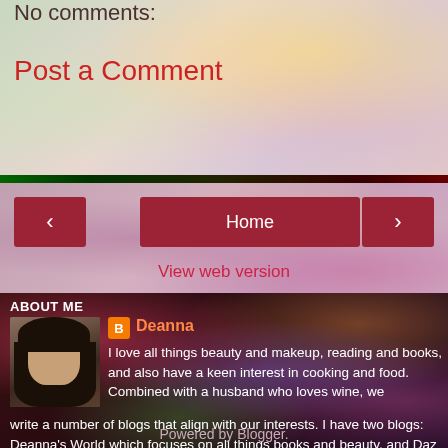No comments:
Post a Comment
‹
Home
›
View web version
ABOUT ME
[Figure (photo): Profile photo of Deanna, a woman with dark hair]
Deanna
I love all things beauty and makeup, reading and books, and also have a keen interest in cooking and food. Combined with a husband who loves wine, we write a number of blogs that align with our interests. I have two blogs: Deanna's World which focuses on all things books and beauty, and Daz In The Kitchen which is my cooking and food blog. I hope you visit and stay around.
View my complete profile
Powered by Blogger.